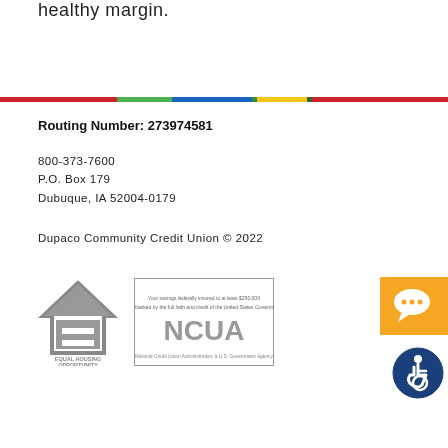healthy margin.
[Figure (other): Multicolor horizontal bar divider with red, green, blue, yellow, and red segments]
Routing Number: 273974581
800-373-7600
P.O. Box 179
Dubuque, IA 52004-0179
Dupaco Community Credit Union © 2022
[Figure (logo): Equal Housing Opportunity logo - house icon with equals sign, gray]
[Figure (logo): NCUA - National Credit Union Administration, a U.S. Government Agency logo with savings insurance text]
[Figure (other): Orange chat/speech bubble icon button]
[Figure (other): Blue circle accessibility icon]